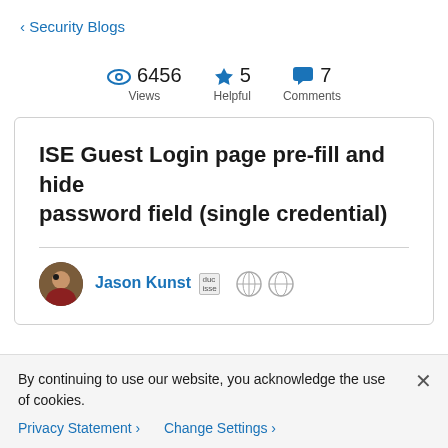< Security Blogs
6456 Views  5 Helpful  7 Comments
ISE Guest Login page pre-fill and hide password field (single credential)
Jason Kunst
By continuing to use our website, you acknowledge the use of cookies.
Privacy Statement >  Change Settings >